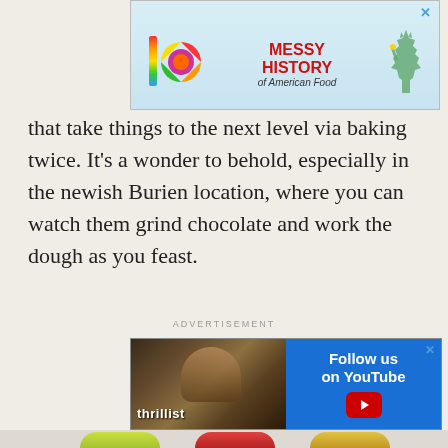[Figure (screenshot): Advertisement banner at top: 'Messy History of American Food' with colorful logo and Statue of Liberty graphic, close button in corner]
that take things to the next level via baking twice. It's a wonder to behold, especially in the newish Burien location, where you can watch them grind chocolate and work the dough as you feast.
ADVERTISEMENT
[Figure (screenshot): Thrillist YouTube advertisement banner: 'Follow us on YouTube' with play button, showing a man eating food]
[Figure (photo): Bottom portion of page showing three chocolate/candy ornament-shaped items on a light background - one green, one red, one gold/yellow]